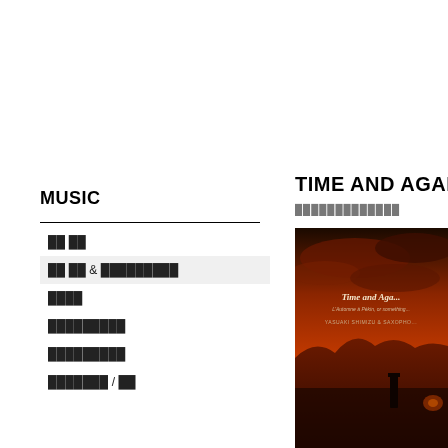MUSIC
██ ██
██ ██ & █████████ (active)
████
█████████
█████████
███████ / ██
TIME AND AGAIN
█████████████
[Figure (photo): Album cover for 'Time and Again' by Yasuaki Shimizu & Saxophone featuring a dark red/orange landscape with dramatic sky and silhouettes]